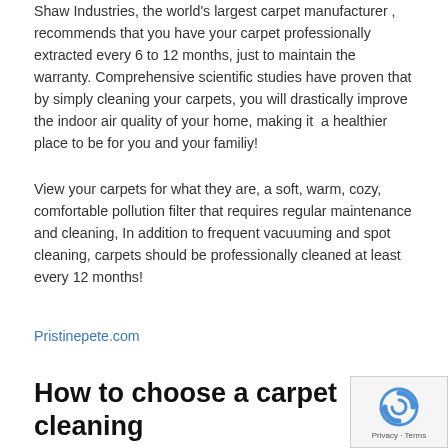Shaw Industries, the world's largest carpet manufacturer , recommends that you have your carpet professionally extracted every 6 to 12 months, just to maintain the warranty. Comprehensive scientific studies have proven that by simply cleaning your carpets, you will drastically improve the indoor air quality of your home, making it  a healthier place to be for you and your familiy!
View your carpets for what they are, a soft, warm, cozy, comfortable pollution filter that requires regular maintenance and cleaning, In addition to frequent vacuuming and spot cleaning, carpets should be professionally cleaned at least every 12 months!
Pristinepete.com
How to choose a carpet cleaning